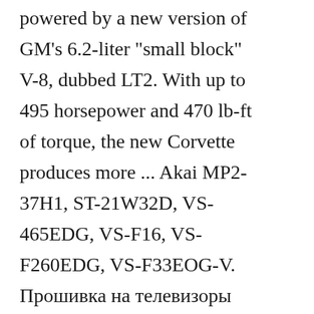powered by a new version of GM's 6.2-liter "small block" V-8, dubbed LT2. With up to 495 horsepower and 470 lb-ft of torque, the new Corvette produces more ... Akai MP2-37H1, ST-21W32D, VS-465EDG, VS-F16, VS-F260EDG, VS-F33EOG-V. Прошивка на телевизоры Akira.Und zur Wahl LT2 oder LT4: Entscheident ist hier, wie du die beiden Subwoofer jeweils aufstellen kannst. Wie ich erwähnt habe solltest du bestenfalls wenn das LT2 besser kling und das LT4